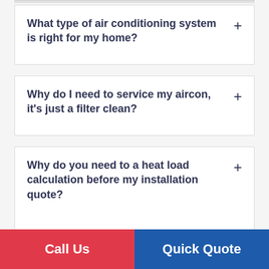What type of air conditioning system is right for my home?
Why do I need to service my aircon, it's just a filter clean?
Why do you need to a heat load calculation before my installation quote?
Is there an after care service?
Call Us
Quick Quote